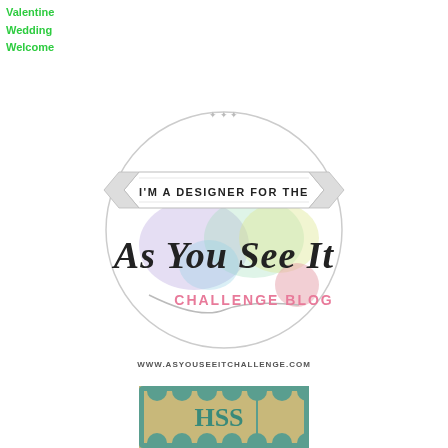Valentine
Wedding
Welcome
[Figure (logo): I'm a Designer for the As You See It Challenge Blog logo — circular design with pastel color blobs, cursive and block lettering, ribbon banner at top]
WWW.ASYOUSEEITCHALLENGE.COM
[Figure (logo): HSS badge logo — teal/green scalloped border with HSS letters in teal on tan/gold background]